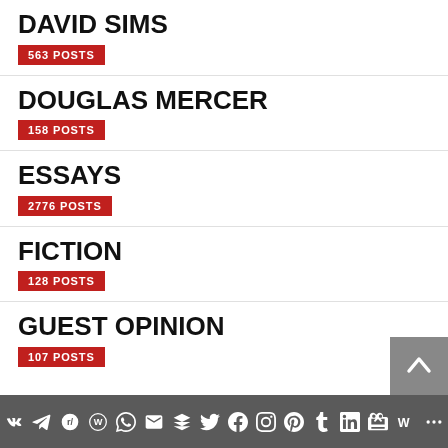DAVID SIMS
563 POSTS
DOUGLAS MERCER
158 POSTS
ESSAYS
2776 POSTS
FICTION
128 POSTS
GUEST OPINION
107 POSTS
Social sharing icons bar